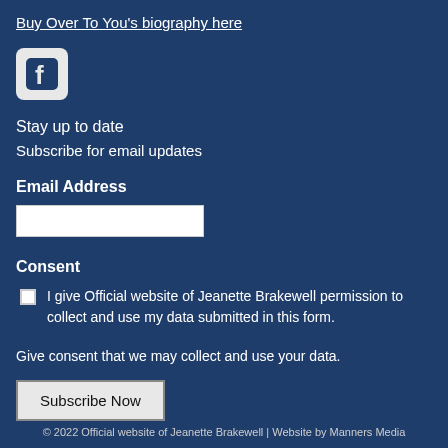Buy Over To You's biography here
[Figure (logo): Facebook logo icon in a rounded square box]
Stay up to date
Subscribe for email updates
Email Address
Consent
I give Official website of Jeanette Brakewell permission to collect and use my data submitted in this form.
Give consent that we may collect and use your data.
Subscribe Now
© 2022 Official website of Jeanette Brakewell | Website by Manners Media